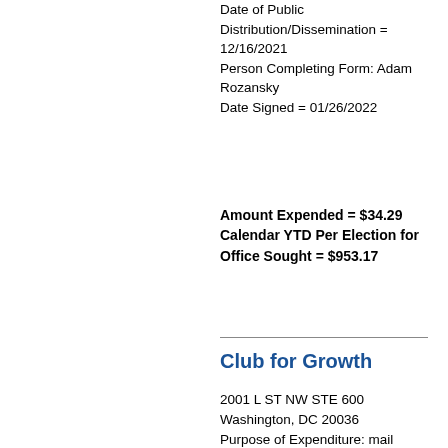Date of Public Distribution/Dissemination = 12/16/2021
Person Completing Form: Adam Rozansky
Date Signed = 01/26/2022
Amount Expended = $34.29
Calendar YTD Per Election for Office Sought = $953.17
Club for Growth
2001 L ST NW STE 600
Washington, DC 20036
Purpose of Expenditure: mail production (from advance line 21)
Name of Federal Candidate supported or opposed by expenditure: MO BROOKS
Candidate ID: S8AL00381
Office Sought: Senate
State is Alabama in District 00
Date of Disbursement or